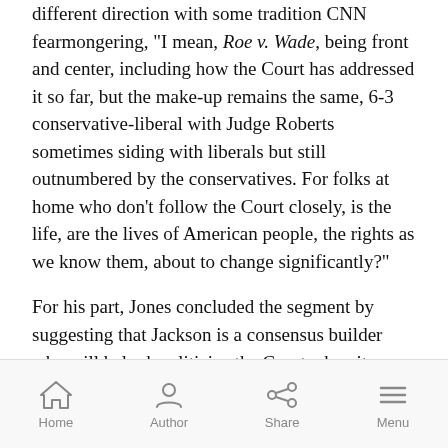different direction with some tradition CNN fearmongering, "I mean, Roe v. Wade, being front and center, including how the Court has addressed it so far, but the make-up remains the same, 6-3 conservative-liberal with Judge Roberts sometimes siding with liberals but still outnumbered by the conservatives. For folks at home who don't follow the Court closely, is the life, are the lives of American people, the rights as we know them, about to change significantly?"

For his part, Jones concluded the segment by suggesting that Jackson is a consensus builder who will help depoliticize the Court when it comes to those controversial cases.
Home | Author | Share | Menu